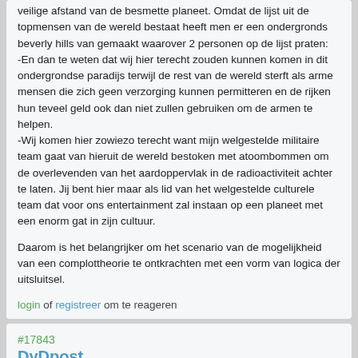veilige afstand van de besmette planeet. Omdat de lijst uit de topmensen van de wereld bestaat heeft men er een ondergronds beverly hills van gemaakt waarover 2 personen op de lijst praten: -En dan te weten dat wij hier terecht zouden kunnen komen in dit ondergrondse paradijs terwijl de rest van de wereld sterft als arme mensen die zich geen verzorging kunnen permitteren en de rijken hun teveel geld ook dan niet zullen gebruiken om de armen te helpen. -Wij komen hier zowiezo terecht want mijn welgestelde militaire team gaat van hieruit de wereld bestoken met atoombommen om de overlevenden van het aardoppervlak in de radioactiviteit achter te laten. Jij bent hier maar als lid van het welgestelde culturele team dat voor ons entertainment zal instaan op een planeet met een enorm gat in zijn cultuur.
Daarom is het belangrijker om het scenario van de mogelijkheid van een complottheorie te ontkrachten met een vorm van logica der uitsluitsel.
login of registreer om te reageren
#17843
DyDpost